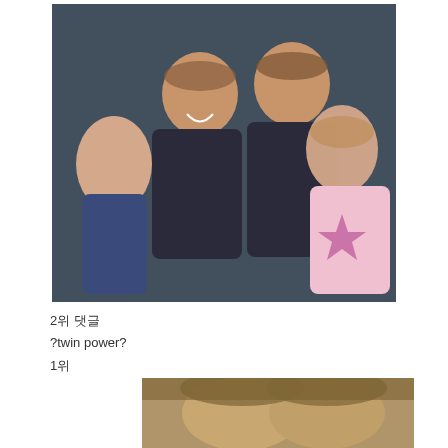[Figure (photo): Group photo of two young women smiling and laughing with two young girls. One girl is laughing on the left, another girl in a pink star shirt stands on the right. Dark background.]
2위 댓글
?twin power?
1위
[Figure (photo): Close-up photo of two people with light brown hair, heads close together.]